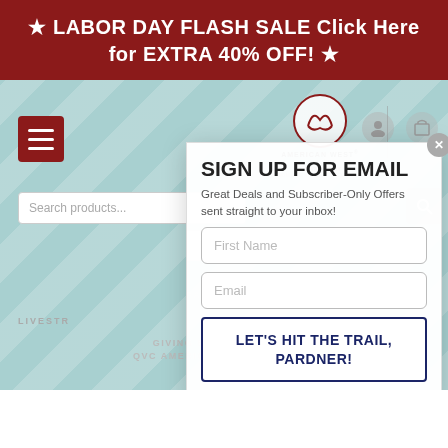★ LABOR DAY FLASH SALE Click Here for EXTRA 40% OFF! ★
[Figure (screenshot): American West Jewelry website screenshot showing navigation with hamburger menu, logo, search bar, and icons. Background has teal/blue diagonal pattern. A signup modal overlay appears on the right side.]
SIGN UP FOR EMAIL
Great Deals and Subscriber-Only Offers sent straight to your inbox!
Email
First Name
Email
LET'S HIT THE TRAIL, PARDNER!
GIVING BACK TOGETHER
QVC AMERICAN WEST JEWELRY